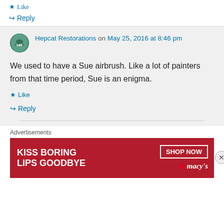★ Like
↪ Reply
Hepcat Restorations on May 25, 2016 at 8:46 pm
We used to have a Sue airbrush. Like a lot of painters from that time period, Sue is an enigma.
★ Like
↪ Reply
Advertisements
[Figure (other): Macy's advertisement banner: KISS BORING LIPS GOODBYE with SHOP NOW button and Macy's star logo]